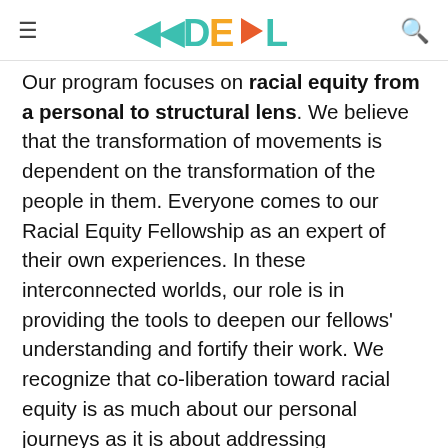≡ DEAL [logo] 🔍
Our program focuses on racial equity from a personal to structural lens. We believe that the transformation of movements is dependent on the transformation of the people in them. Everyone comes to our Racial Equity Fellowship as an expert of their own experiences. In these interconnected worlds, our role is in providing the tools to deepen our fellows' understanding and fortify their work. We recognize that co-liberation toward racial equity is as much about our personal journeys as it is about addressing oppressive systems. With that understanding, we encourage all of our fellows to find and connect to anti-racism movement ancestors,